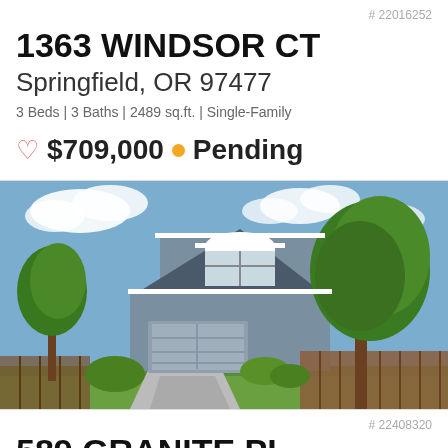# 22016252
1363 WINDSOR CT
Springfield, OR 97477
3 Beds | 3 Baths | 2489 sq.ft. | Single-Family
♡ $709,000 • Pending
[Figure (photo): Two-story gray house with attached two-car garage, large tree in front yard, wooden fence on right side, blue sky with clouds]
# 22408320
589 GRANITE PL